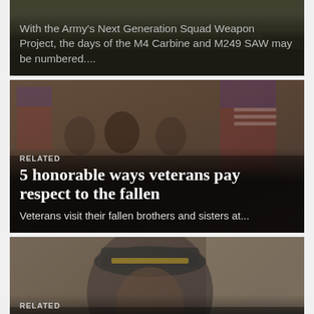[Figure (photo): Partial card showing military weapons/rifle on ground, partially cropped at top]
With the Army's Next Generation Squad Weapon Project, the days of the M4 Carbine and M249 SAW may be numbered....
[Figure (photo): Veterans holding American and other flags, wearing motorcycle vests and caps]
RELATED
5 honorable ways veterans pay respect to the fallen
Veterans visit their fallen brothers and sisters at...
[Figure (photo): Elderly veteran wearing a World War II veteran cap, smiling]
RELATED
7 more phrases old school veterans can't stop saying — and we love it
We love our old-school veterans that don't have...